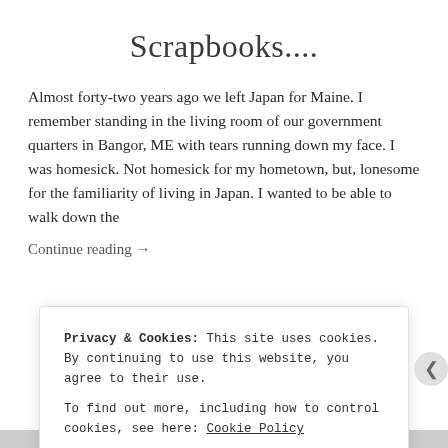Scrapbooks....
Almost forty-two years ago we left Japan for Maine. I remember standing in the living room of our government quarters in Bangor, ME with tears running down my face. I was homesick. Not homesick for my hometown, but, lonesome for the familiarity of living in Japan. I wanted to be able to walk down the
Continue reading →
Privacy & Cookies: This site uses cookies. By continuing to use this website, you agree to their use.
To find out more, including how to control cookies, see here: Cookie Policy
Close and accept